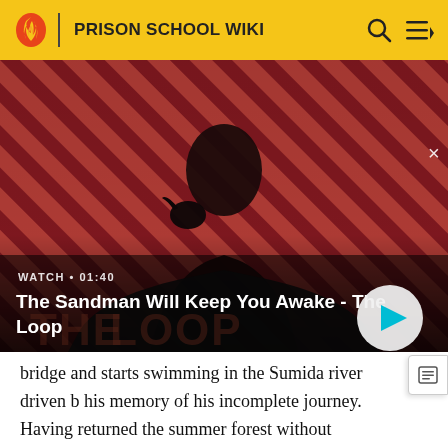PRISON SCHOOL WIKI
[Figure (screenshot): Video thumbnail for 'The Sandman Will Keep You Awake - The Loop' with a dark-cloaked figure against a red diagonal-striped background, showing WATCH • 01:40 label and a play button]
The Sandman Will Keep You Awake - The Loop
bridge and starts swimming in the Sumida river driven b his memory of his incomplete journey. Having returned the summer forest without memory of the location, he becomes lost again after following the path he had made before and is on the brink of losing consciousness when